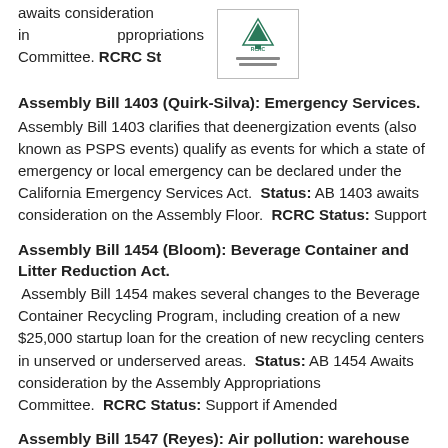awaits consideration in Appropriations Committee. RCRC Status:
[Figure (logo): RCRC logo with mountain/tree graphic and horizontal lines below]
Assembly Bill 1403 (Quirk-Silva): Emergency Services.
Assembly Bill 1403 clarifies that deenergization events (also known as PSPS events) qualify as events for which a state of emergency or local emergency can be declared under the California Emergency Services Act. Status: AB 1403 awaits consideration on the Assembly Floor. RCRC Status: Support
Assembly Bill 1454 (Bloom): Beverage Container and Litter Reduction Act.
Assembly Bill 1454 makes several changes to the Beverage Container Recycling Program, including creation of a new $25,000 startup loan for the creation of new recycling centers in unserved or underserved areas. Status: AB 1454 Awaits consideration by the Assembly Appropriations Committee. RCRC Status: Support if Amended
Assembly Bill 1547 (Reyes): Air pollution: warehouse facilities.
AB 1547 allows the Air Resources Board to regulate indirect sources of air pollution and requires local governments to undertake many other actions to identify and address the potential environmental impacts of warehouse